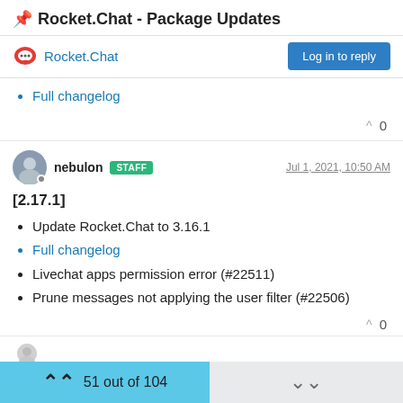📌 Rocket.Chat - Package Updates
Rocket.Chat | Log in to reply
Full changelog
^ 0
nebulon STAFF  Jul 1, 2021, 10:50 AM
[2.17.1]
Update Rocket.Chat to 3.16.1
Full changelog
Livechat apps permission error (#22511)
Prune messages not applying the user filter (#22506)
^ 0
51 out of 104